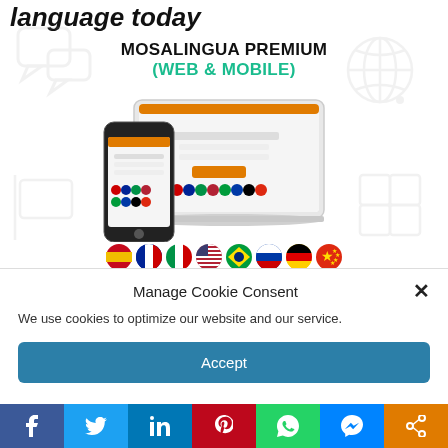language today
MOSALINGUA PREMIUM
(WEB & MOBILE)
[Figure (screenshot): MosaLingua Premium product screenshot showing a laptop and smartphone with the MosaLingua app interface, with flag icons for multiple languages below (Spanish, French, Italian, American, Brazilian, Russian, German, Chinese)]
Manage Cookie Consent
We use cookies to optimize our website and our service.
Accept
[Figure (infographic): Social share bar with buttons: Facebook (f), Twitter bird, LinkedIn (in), Pinterest (P), WhatsApp, Messenger, Share icon]